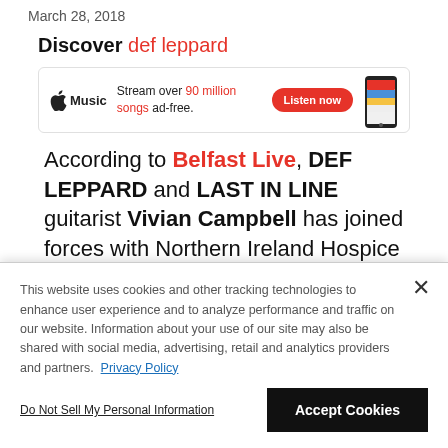March 28, 2018
Discover def leppard
[Figure (infographic): Apple Music advertisement banner with Apple Music logo, text 'Stream over 90 million songs ad-free.', a red 'Listen now' button, and a smartphone image]
According to Belfast Live, DEF LEPPARD and LAST IN LINE guitarist Vivian Campbell has joined forces with Northern Ireland Hospice to
This website uses cookies and other tracking technologies to enhance user experience and to analyze performance and traffic on our website. Information about your use of our site may also be shared with social media, advertising, retail and analytics providers and partners. Privacy Policy
Do Not Sell My Personal Information
Accept Cookies